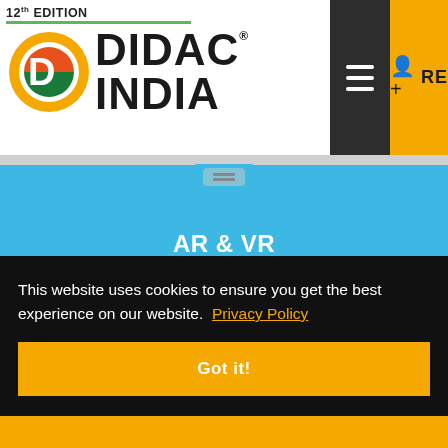12th EDITION
[Figure (logo): DIDAC INDIA logo with circular icon and text, green underline]
[Figure (screenshot): Hamburger menu button (dark background with three white horizontal lines)]
[Figure (screenshot): Register button (yellow background with person icon and REGISTER text)]
AR & VR
[Figure (infographic): Gear icons representing Vocational Training Equipment on a pink/crimson background]
Vocational Training Equipment
This website uses cookies to ensure you get the best experience on our website.  Privacy Policy
Got it!